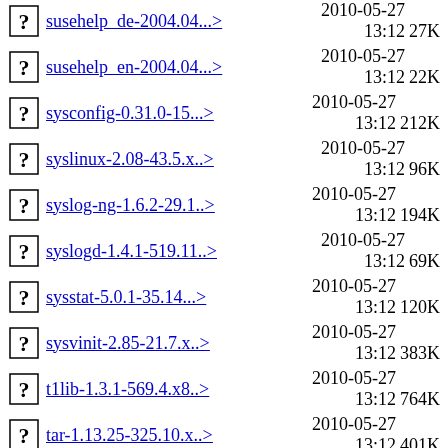susehelp_de-2004.04...>  2010-05-27 13:12  27K
susehelp_en-2004.04...>  2010-05-27 13:12  22K
sysconfig-0.31.0-15...>  2010-05-27 13:12  212K
syslinux-2.08-43.5.x..>  2010-05-27 13:12  96K
syslog-ng-1.6.2-29.1..>  2010-05-27 13:12  194K
syslogd-1.4.1-519.11..>  2010-05-27 13:12  69K
sysstat-5.0.1-35.14...>  2010-05-27 13:12  120K
sysvinit-2.85-21.7.x..>  2010-05-27 13:12  383K
t1lib-1.3.1-569.4.x8..>  2010-05-27 13:12  764K
tar-1.13.25-325.10.x..>  2010-05-27 13:12  401K
tcl-8.4.6-26.7.x86_6..>  2010-05-27 13:12  1.2M
tcpd-7.6-710.1.x86_6..>  2010-05-27 13:12  83K